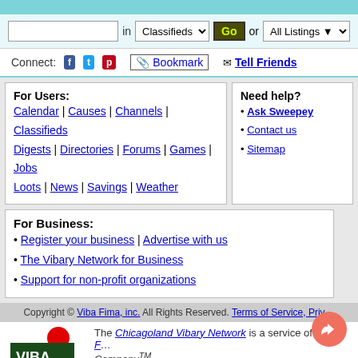SEARCH bar with Classifieds dropdown and Go button
Connect: [Facebook] [Twitter] [Pinterest] Bookmark | Tell Friends
For Users: Calendar | Causes | Channels | Classifieds Digests | Directories | Forums | Games | Jobs Loots | News | Savings | Weather
Need help? • Ask Sweepey • Contact us • Sitemap
For Business: • Register your business | Advertise with us • The Vibary Network for Business • Support for non-profit organizations
Copyright © Viba Fima, inc. All Rights Reserved. Terms of Service, Priv...
The Chicagoland Vibary Network is a service of Viba F... Company™.
Viba Fima, Vibary, Vibase, FingerWalk, Sweepey, FenzPost, ClickClip, B... Fima, inc. Other trademarks and logos that appear throughout this web...